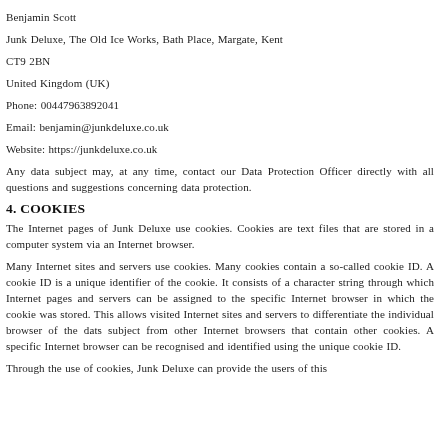Benjamin Scott
Junk Deluxe, The Old Ice Works, Bath Place, Margate, Kent
CT9 2BN
United Kingdom (UK)
Phone: 00447963892041
Email: benjamin@junkdeluxe.co.uk
Website: https://junkdeluxe.co.uk
Any data subject may, at any time, contact our Data Protection Officer directly with all questions and suggestions concerning data protection.
4. COOKIES
The Internet pages of Junk Deluxe use cookies. Cookies are text files that are stored in a computer system via an Internet browser.
Many Internet sites and servers use cookies. Many cookies contain a so-called cookie ID. A cookie ID is a unique identifier of the cookie. It consists of a character string through which Internet pages and servers can be assigned to the specific Internet browser in which the cookie was stored. This allows visited Internet sites and servers to differentiate the individual browser of the dats subject from other Internet browsers that contain other cookies. A specific Internet browser can be recognised and identified using the unique cookie ID.
Through the use of cookies, Junk Deluxe can provide the users of this